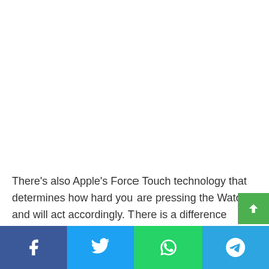There's also Apple's Force Touch technology that determines how hard you are pressing the Watch and will act accordingly. There is a difference between a hard press and a simple tap. (We discuss Force Touch in more detail below.)